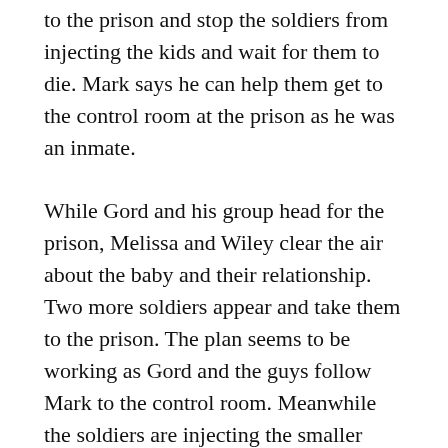to the prison and stop the soldiers from injecting the kids and wait for them to die. Mark says he can help them get to the control room at the prison as he was an inmate.
While Gord and his group head for the prison, Melissa and Wiley clear the air about the baby and their relationship. Two more soldiers appear and take them to the prison. The plan seems to be working as Gord and the guys follow Mark to the control room. Meanwhile the soldiers are injecting the smaller children.